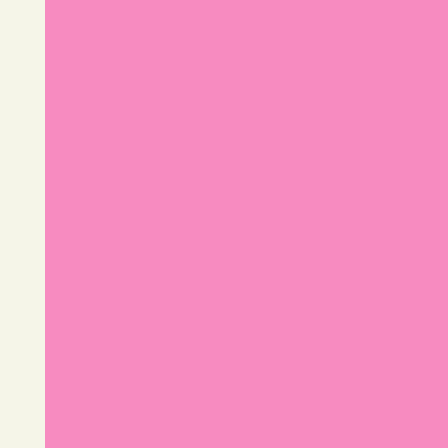[Figure (other): Pink rectangular block occupying the left-center portion of the page, with a cream/off-white left margin strip.]
http://www.royalkolkataescorts.c
http://www.royalkolkataescorts.c
http://www.royalkolkataescorts.c
http://www.royalkolkataescorts.c
http://www.royalkolkataescorts.c
http://www.royalkolkataescorts.c
http://www.royalkolkataescorts.c
http://www.royalkolkataescorts.c
http://www.royalkolkataescorts.c
http://www.royalkolkataescorts.c
http://www.royalkolkataescorts.c
http://www.royalkolkataescorts.c
http://www.royalkolkataescorts.c
http://www.royalkolkataescorts.c
http://www.royalkolkataescorts.c
http://www.royalkolkataescorts.c
http://www.royalkolkataescorts.c
http://www.royalkolkataescorts.c
http://www.royalkolkataescorts.c
http://www.royalkolkataescorts.c
http://www.royalkolkataescorts.c
http://www.royalkolkataescorts.c
http://www.royalkolkataescorts.c
http://www.royalkolkataescorts.c
http://www.royalkolkataescorts.c
http://www.royalkolkataescorts.c
http://www.royalkolkataescorts.c
http://www.royalkolkataescorts.c
http://www.royalkolkataescorts.c
http://www.ansha.in
http://www.bangaloreescorts.net